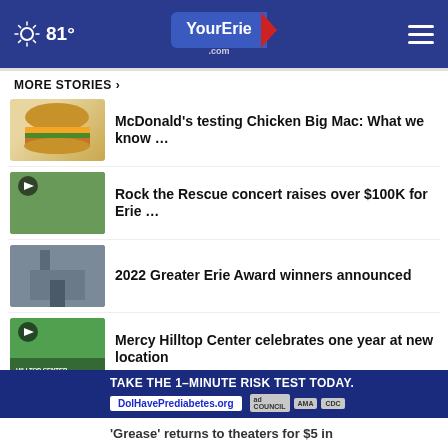81° YourErie.com
MORE STORIES ›
[Figure (photo): Burger thumbnail]
McDonald’s testing Chicken Big Mac: What we know …
[Figure (photo): Concert video thumbnail with play button]
Rock the Rescue concert raises over $100K for Erie …
[Figure (photo): City aerial view thumbnail]
2022 Greater Erie Award winners announced
[Figure (photo): Mercy Hilltop Center video thumbnail with play button]
Mercy Hilltop Center celebrates one year at new location
[Figure (photo): CelebrateErie video thumbnail with play button]
Watch: CelebrateErie 2022 ki✕ off
[Figure (photo): Grease thumbnail with play button]
‘Grease’ returns to theaters for $5 in
TAKE THE 1-MINUTE RISK TEST TODAY. DolHavePrediabetes.org